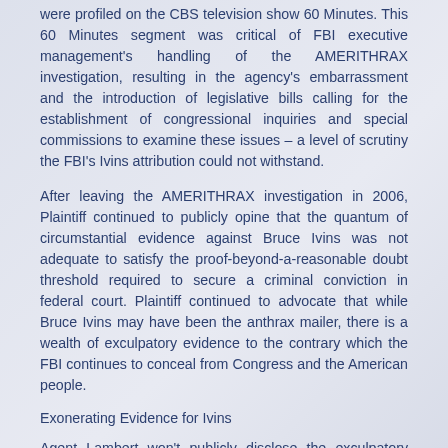were profiled on the CBS television show 60 Minutes. This 60 Minutes segment was critical of FBI executive management's handling of the AMERITHRAX investigation, resulting in the agency's embarrassment and the introduction of legislative bills calling for the establishment of congressional inquiries and special commissions to examine these issues – a level of scrutiny the FBI's Ivins attribution could not withstand.
After leaving the AMERITHRAX investigation in 2006, Plaintiff continued to publicly opine that the quantum of circumstantial evidence against Bruce Ivins was not adequate to satisfy the proof-beyond-a-reasonable doubt threshold required to secure a criminal conviction in federal court. Plaintiff continued to advocate that while Bruce Ivins may have been the anthrax mailer, there is a wealth of exculpatory evidence to the contrary which the FBI continues to conceal from Congress and the American people.
Exonerating Evidence for Ivins
Agent Lambert won't publicly disclose the exculpatory evidence against Ivins. As the New York Times reports:
[Lambert] declined to be specific, saying that most of the information was protected by the Privacy Act and was unlikely to